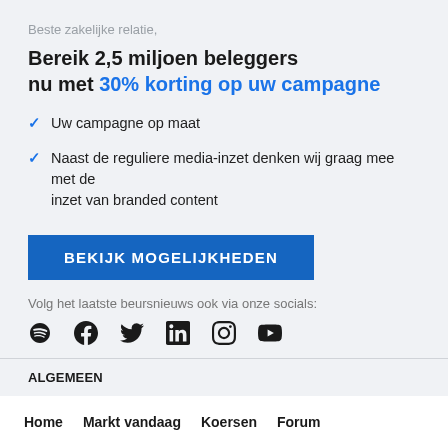Beste zakelijke relatie,
Bereik 2,5 miljoen beleggers nu met 30% korting op uw campagne
Uw campagne op maat
Naast de reguliere media-inzet denken wij graag mee met de inzet van branded content
BEKIJK MOGELIJKHEDEN
Volg het laatste beursnieuws ook via onze socials:
[Figure (infographic): Row of social media icons: Spotify, Facebook, Twitter/X, LinkedIn, Instagram, YouTube]
ALGEMEEN
Home    Markt vandaag    Koersen    Forum